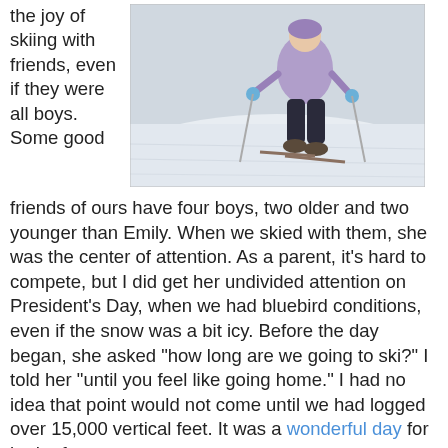the joy of skiing with friends, even if they were all boys. Some good
[Figure (photo): A child in a purple/lavender jacket and dark pants skiing on a snowy slope]
friends of ours have four boys, two older and two younger than Emily. When we skied with them, she was the center of attention. As a parent, it's hard to compete, but I did get her undivided attention on President's Day, when we had bluebird conditions, even if the snow was a bit icy. Before the day began, she asked "how long are we going to ski?" I told her "until you feel like going home." I had no idea that point would not come until we had logged over 15,000 vertical feet. It was a wonderful day for both of us.
Another great memory came skiing with one of my close friends and colleagues, David. David is from Spain but currently lives in the Bay Area. We used to work in the same area and in the process discovered that our kids are the same age and we share a lot of the same interests, including